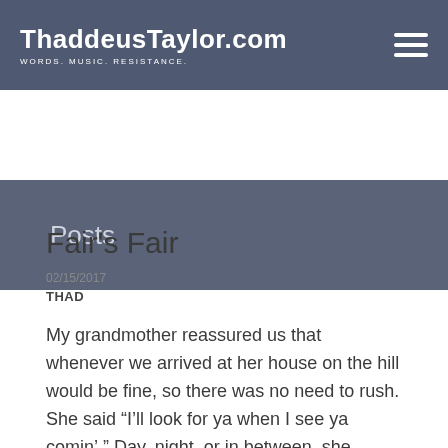ThaddeusTaylor.com · WORDS. MUSIC. RESISTANCE.
Posts
Fair's Fair
02/15/2017
THAD
My grandmother reassured us that whenever we arrived at her house on the hill would be fine, so there was no need to rush. She said “I’ll look for ya when I see ya comin’.” Day, night, or in between, she would